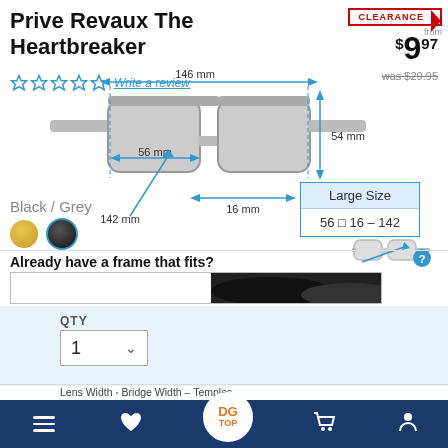Prive Revaux The Heartbreaker
[Figure (infographic): Glasses frame diagram showing dimensions: 146mm width overall, 56mm lens width, 54mm lens height, 16mm bridge, 142mm temple length. Arrows indicate each measurement on a grey glasses illustration.]
CLEARANCE from
$9.97
was $29.95
Write a review
Black / Grey
Large Size
56 □ 16 – 142
Already have a frame that fits?
QTY
1
Lens Width □ Bridge Width – Temples
Need Help?
≡  ♥  DG TOP  🛒  👤